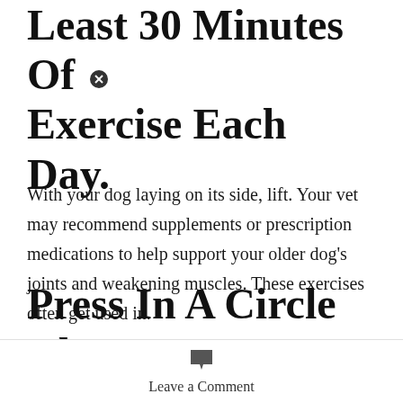Least 30 Minutes Of Exercise Each Day.
With your dog laying on its side, lift. Your vet may recommend supplements or prescription medications to help support your older dog's joints and weakening muscles. These exercises often get used in.
Press In A Circle Along The Shoulders, Hips,
Leave a Comment